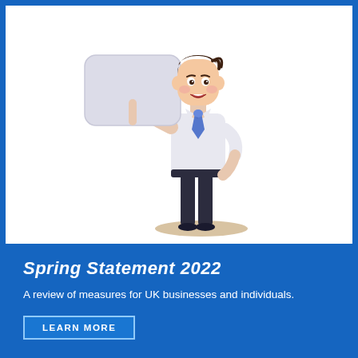[Figure (illustration): A cartoon illustration of a businessman in white shirt, dark trousers, and blue tie, holding a blank grey sign/placard in his left hand while resting his right hand on his hip. He is standing on a tan shadow/base.]
Spring Statement 2022
A review of measures for UK businesses and individuals.
LEARN MORE